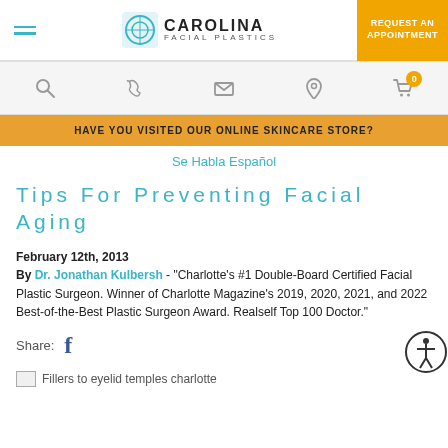CAROLINA FACIAL PLASTICS | REQUEST AN APPOINTMENT
[Figure (screenshot): Website navigation icon bar with search, phone, email, location, and cart icons on gray background]
HAVE YOU VISITED OUR ONLINE SKINCARE STORE?
Se Habla Español
Tips For Preventing Facial Aging
February 12th, 2013
By Dr. Jonathan Kulbersh - "Charlotte's #1 Double-Board Certified Facial Plastic Surgeon. Winner of Charlotte Magazine's 2019, 2020, 2021, and 2022 Best-of-the-Best Plastic Surgeon Award. Realself Top 100 Doctor."
Share:
Fillers to eyelid temples charlotte